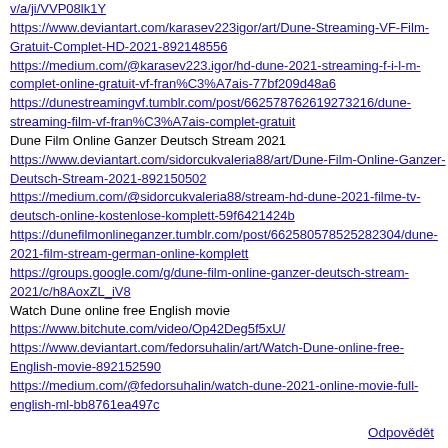https://www.deviantart.com/karasev223igor/art/Dune-Streaming-VF-Film-Gratuit-Complet-HD-2021-892148556
https://medium.com/@karasev223.igor/hd-dune-2021-streaming-f-i-l-m-complet-online-gratuit-vf-fran%C3%A7ais-77bf209d48a6
https://dunestreamingvf.tumblr.com/post/662578762619273216/dune-streaming-film-vf-fran%C3%A7ais-complet-gratuit
Dune Film Online Ganzer Deutsch Stream 2021
https://www.deviantart.com/sidorcukvaleria88/art/Dune-Film-Online-Ganzer-Deutsch-Stream-2021-892150502
https://medium.com/@sidorcukvaleria88/stream-hd-dune-2021-filme-tv-deutsch-online-kostenlose-komplett-59f6421424b
https://dunefilmonlineganzer.tumblr.com/post/662580578525282304/dune-2021-film-stream-german-online-komplett
https://groups.google.com/g/dune-film-online-ganzer-deutsch-stream-2021/c/h8AoxZL_iV8
Watch Dune online free English movie
https://www.bitchute.com/video/Op42Deg5f5xU/
https://www.deviantart.com/fedorsuhalin/art/Watch-Dune-online-free-English-movie-892152590
https://medium.com/@fedorsuhalin/watch-dune-2021-online-movie-full-english-ml-bb8761ea497c
Odpovědět